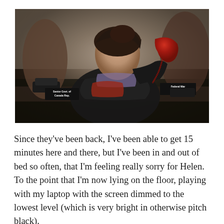[Figure (photo): A woman sitting at a desk in a dark room, holding a red telephone handset to her ear. She is wearing a dark winter jacket with fur trim. On the desk are two nameplate signs: one reading 'Senior Govt. of Canada Rep.' and another reading 'Federal War Officer'. There is also a black telephone on the desk. The background shows dark walls and chairs.]
Since they've been back, I've been able to get 15 minutes here and there, but I've been in and out of bed so often, that I'm feeling really sorry for Helen. To the point that I'm now lying on the floor, playing with my laptop with the screen dimmed to the lowest level (which is very bright in otherwise pitch black).